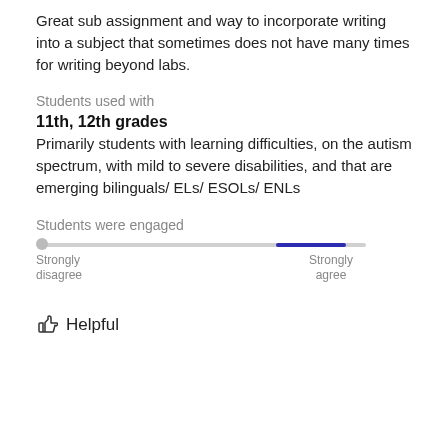Great sub assignment and way to incorporate writing into a subject that sometimes does not have many times for writing beyond labs.
Students used with
11th, 12th grades
Primarily students with learning difficulties, on the autism spectrum, with mild to severe disabilities, and that are emerging bilinguals/ ELs/ ESOLs/ ENLs
Students were engaged
[Figure (other): A horizontal slider/scale from Strongly disagree to Strongly agree, with the indicator positioned toward the right (Strongly agree) side.]
Helpful